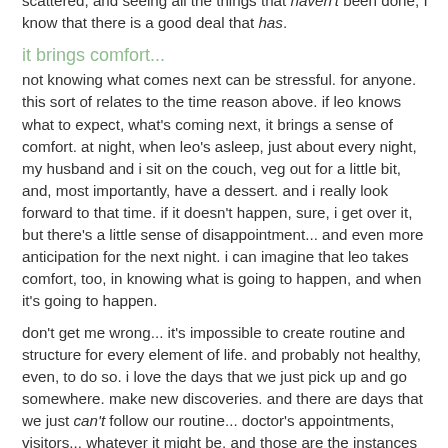scattered, and seeing all the things that haven't been done, I know that there is a good deal that has.
it brings comfort...
not knowing what comes next can be stressful.  for anyone.  this sort of relates to the time reason above.  if leo knows what to expect, what's coming next, it brings a sense of comfort.  at night, when leo's asleep, just about every night, my husband and i sit on the couch, veg out for a little bit, and, most importantly, have a dessert.  and i really look forward to that time.  if it doesn't happen, sure, i get over it, but there's a little sense of disappointment... and even more anticipation for the next night.  i can imagine that leo takes comfort, too, in knowing what is going to happen, and when it's going to happen.
don't get me wrong... it's impossible to create routine and structure for every element of life.  and probably not healthy, even, to do so.  i love the days that we just pick up and go somewhere.  make new discoveries.  and there are days that we just can't follow our routine... doctor's appointments, visitors... whatever it might be.  and those are the instances